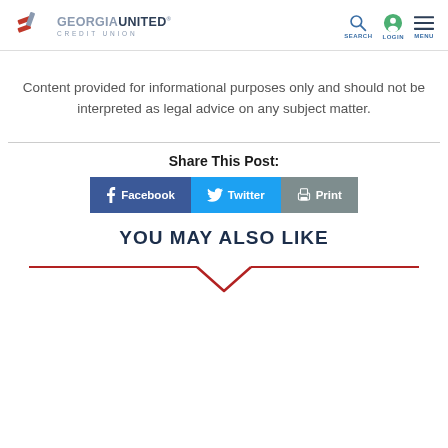GEORGIA UNITED CREDIT UNION
Content provided for informational purposes only and should not be interpreted as legal advice on any subject matter.
Share This Post:
Facebook  Twitter  Print
YOU MAY ALSO LIKE